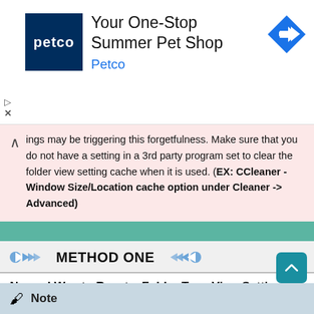[Figure (screenshot): Petco advertisement banner with logo, text 'Your One-Stop Summer Pet Shop / Petco', and a navigation arrow icon]
ings may be triggering this forgetfulness. Make sure that you do not have a setting in a 3rd party program set to clear the folder view setting cache when it is used. (EX: CCleaner - Window Size/Location cache option under Cleaner -> Advanced)
METHOD ONE
Normal Way to Reset a Folder Type View Settings
Note